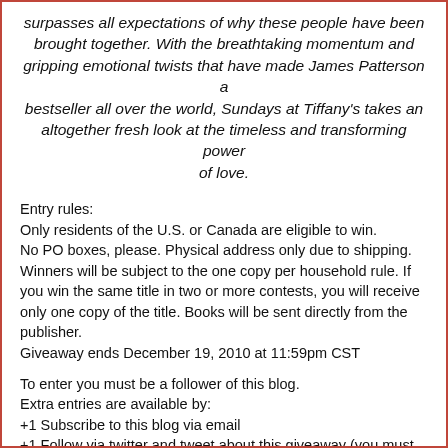surpasses all expectations of why these people have been brought together. With the breathtaking momentum and gripping emotional twists that have made James Patterson a bestseller all over the world, Sundays at Tiffany's takes an altogether fresh look at the timeless and transforming power of love.
Entry rules:
Only residents of the U.S. or Canada are eligible to win.
No PO boxes, please. Physical address only due to shipping.
Winners will be subject to the one copy per household rule. If you win the same title in two or more contests, you will receive only one copy of the title. Books will be sent directly from the publisher.
Giveaway ends December 19, 2010 at 11:59pm CST
To enter you must be a follower of this blog.
Extra entries are available by:
+1 Subscribe to this blog via email
+1 Follow via twitter and tweet about this giveaway (you must include @cozyreadersnook in your tweet)
+1 Become a Facebook fan & share the giveaway (you must